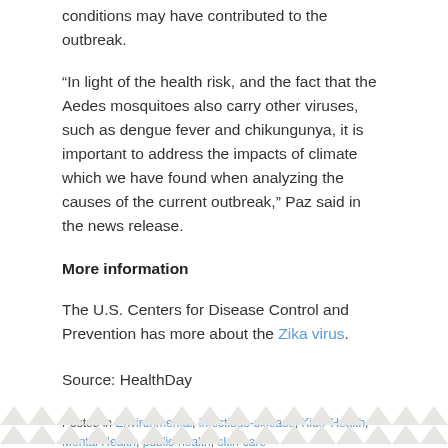conditions may have contributed to the outbreak.
“In light of the health risk, and the fact that the Aedes mosquitoes also carry other viruses, such as dengue fever and chikungunya, it is important to address the impacts of climate which we have found when analyzing the causes of the current outbreak,” Paz said in the news release.
More information
The U.S. Centers for Disease Control and Prevention has more about the Zika virus.
Source: HealthDay
Posted in Environmental, infectious-disease, Kids’ Health, Mental Health, public-health, skin-care
Leave a Reply